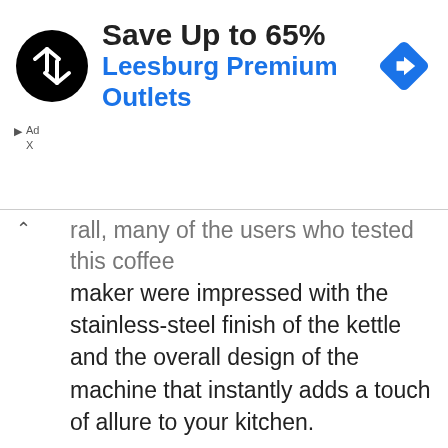[Figure (advertisement): Ad banner: circular black logo with double-arrow symbol, text 'Save Up to 65%' in bold black, 'Leesburg Premium Outlets' in blue, and a blue diamond navigation arrow icon on the right. Ad label triangle and 'Ad'/'X' text at bottom left.]
rall, many of the users who tested this coffee maker were impressed with the stainless-steel finish of the kettle and the overall design of the machine that instantly adds a touch of allure to your kitchen.
The Mr. Coffee BVMC-PO19B coffee maker sports a paper cone filter system, which allows for very easy care since the paper cones are disposable. The smart-interface of this machine is what makes it stand out from the crowd, and we liked the one-touch performance that leaves you time for other important things in the morning.